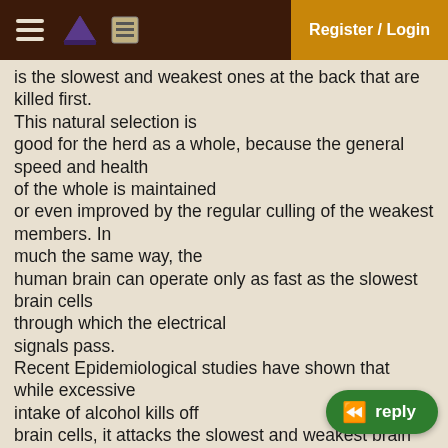Register / Login
is the slowest and weakest ones at the back that are killed first.
This natural selection is good for the herd as a whole, because the general speed and health of the whole is maintained or even improved by the regular culling of the weakest members. In much the same way, the human brain can operate only as fast as the slowest brain cells through which the electrical signals pass.
Recent Epidemiological studies have shown that while excessive intake of alcohol kills off brain cells, it attacks the slowest and weakest brain cells first.
Thus, regular consumption of alcohol helps eliminate the weaker cells, constantly